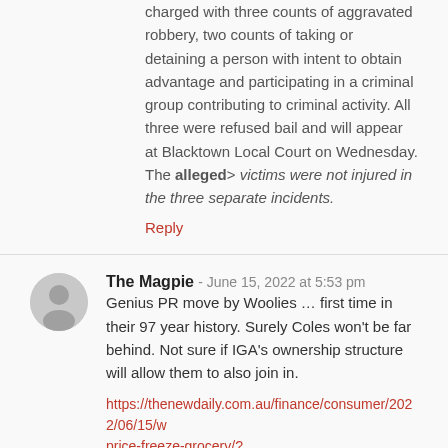charged with three counts of aggravated robbery, two counts of taking or detaining a person with intent to obtain advantage and participating in a criminal group contributing to criminal activity. All three were refused bail and will appear at Blacktown Local Court on Wednesday. The alleged> victims were not injured in the three separate incidents.
Reply
The Magpie - June 15, 2022 at 5:53 pm
Genius PR move by Woolies ... first time in their 97 year history. Surely Coles won't be far behind. Not sure if IGA's ownership structure will allow them to also join in.
https://thenewdaily.com.au/finance/consumer/2022/06/15/w price-freeze-grocery/? utm_source=Adestra&utm_medium=email&utm_campaign=PM %2020220615
Reply